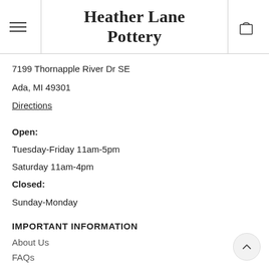Heather Lane Pottery
7199 Thornapple River Dr SE
Ada, MI 49301
Directions
Open:
Tuesday-Friday 11am-5pm
Saturday 11am-4pm
Closed:
Sunday-Monday
IMPORTANT INFORMATION
About Us
FAQs